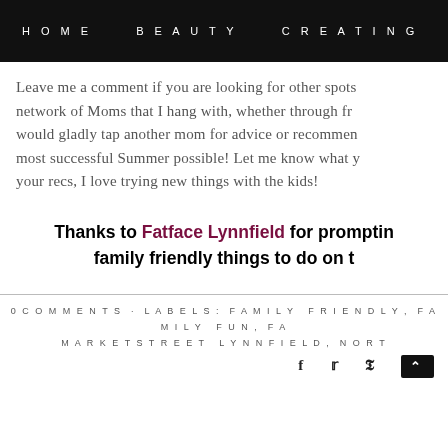HOME   BEAUTY   CREATING
Leave me a comment if you are looking for other spots in the network of Moms that I hang with, whether through fr... would gladly tap another mom for advice or recommen... most successful Summer possible! Let me know what y... your recs, I love trying new things with the kids!
Thanks to Fatface Lynnfield for promptin... family friendly things to do on t...
0 COMMENTS · LABELS: FAMILY FRIENDLY, FAMILY FUN, FA... MARKETSTREET LYNNFIELD, NORT...